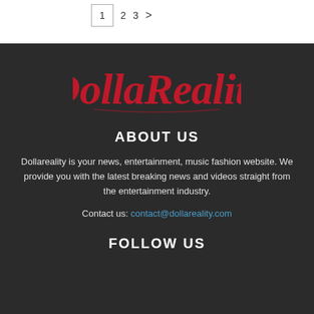1  2  3  >
[Figure (logo): DollaReality logo in red gothic/calligraphic font on dark background]
ABOUT US
Dollareality is your news, entertainment, music fashion website. We provide you with the latest breaking news and videos straight from the entertainment industry.
Contact us: contact@dollareality.com
FOLLOW US